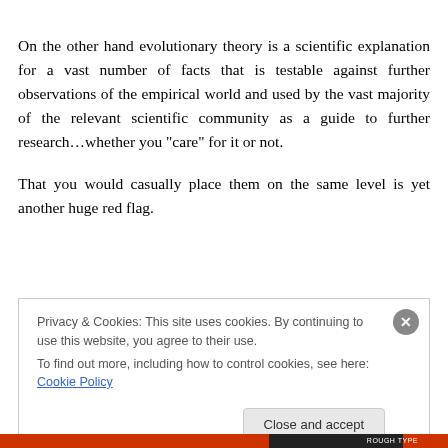On the other hand evolutionary theory is a scientific explanation for a vast number of facts that is testable against further observations of the empirical world and used by the vast majority of the relevant scientific community as a guide to further research…whether you “care” for it or not.
That you would casually place them on the same level is yet another huge red flag.
Privacy & Cookies: This site uses cookies. By continuing to use this website, you agree to their use.
To find out more, including how to control cookies, see here: Cookie Policy